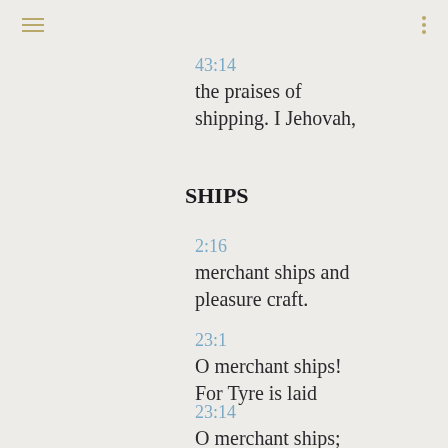≡  ⋮
43:14
the praises of shipping. I Jehovah,
SHIPS
2:16
merchant ships and pleasure craft.
23:1
O merchant ships! For Tyre is laid
23:14
O merchant ships; your haven is